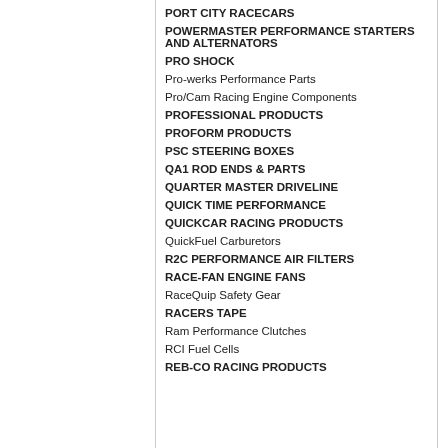PORT CITY RACECARS
POWERMASTER PERFORMANCE STARTERS AND ALTERNATORS
PRO SHOCK
Pro-werks Performance Parts
Pro/Cam Racing Engine Components
PROFESSIONAL PRODUCTS
PROFORM PRODUCTS
PSC STEERING BOXES
QA1 ROD ENDS & PARTS
QUARTER MASTER DRIVELINE
QUICK TIME PERFORMANCE
QUICKCAR RACING PRODUCTS
QuickFuel Carburetors
R2C PERFORMANCE AIR FILTERS
RACE-FAN ENGINE FANS
RaceQuip Safety Gear
RACERS TAPE
Ram Performance Clutches
RCI Fuel Cells
REB-CO RACING PRODUCTS